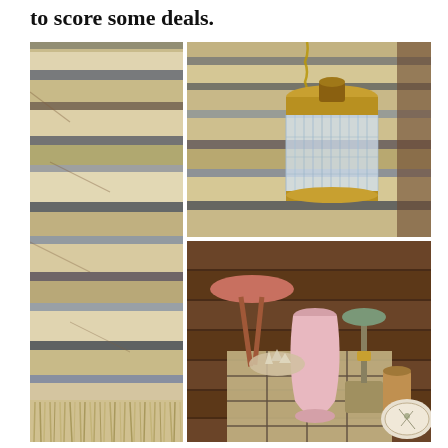to score some deals.
[Figure (photo): Collage of three photos: left - close-up of a striped shaggy wool blanket/rug with blue, cream, and brown stripes with fringe at bottom; top right - vintage crystal and brass hanging pendant light on a textured rug background; bottom right - collection of mid-century modern items including a pink ceramic vase, small round side tables, a candlestick on a stone base, and a leather cup on a wooden deck with a patterned rug.]